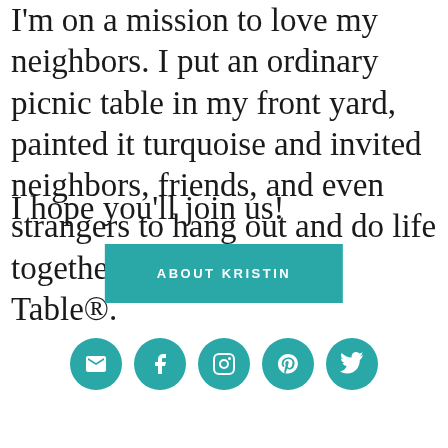I'm on a mission to love my neighbors. I put an ordinary picnic table in my front yard, painted it turquoise and invited neighbors, friends, and even strangers to hang out and do life together at the Turquoise Table®.
I hope you'll join us!
[Figure (other): Teal/turquoise rectangular button with white uppercase text reading 'ABOUT KRISTIN']
[Figure (other): Row of five teal circular social media icon buttons: email/envelope, Facebook, Instagram, Pinterest, Twitter]